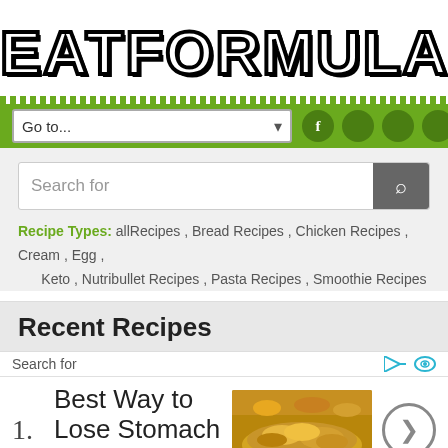EATFORMULA.COM
[Figure (screenshot): Website navigation bar with green background, Go to... dropdown, and social media icon circles]
Search for
Recipe Types: allRecipes , Bread Recipes , Chicken Recipes , Cream , Egg , Keto , Nutribullet Recipes , Pasta Recipes , Smoothie Recipes
Recent Recipes
Search for
1. Best Way to Lose Stomach Fat